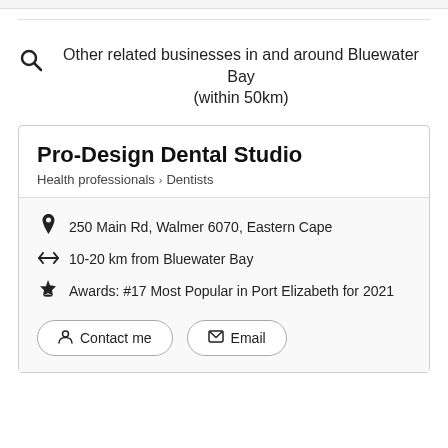Other related businesses in and around Bluewater Bay (within 50km)
Pro-Design Dental Studio
Health professionals > Dentists
250 Main Rd, Walmer 6070, Eastern Cape
10-20 km from Bluewater Bay
Awards: #17 Most Popular in Port Elizabeth for 2021
Contact me
Email